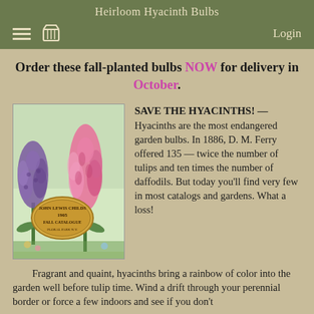Heirloom Hyacinth Bulbs
Order these fall-planted bulbs NOW for delivery in October.
[Figure (illustration): Vintage seed catalog illustration showing purple and pink hyacinth flowers with a John Lewis Childs 1905 Fall Catalogue label in the center]
SAVE THE HYACINTHS! — Hyacinths are the most endangered garden bulbs. In 1886, D. M. Ferry offered 135 — twice the number of tulips and ten times the number of daffodils. But today you'll find very few in most catalogs and gardens. What a loss!
Fragrant and quaint, hyacinths bring a rainbow of color into the garden well before tulip time. Wind a drift through your perennial border or force a few indoors and see if you don't